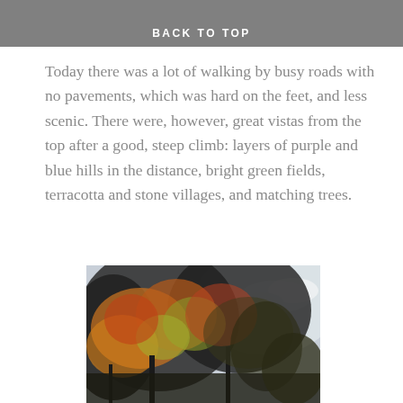BACK TO TOP
Today there was a lot of walking by busy roads with no pavements, which was hard on the feet, and less scenic. There were, however, great vistas from the top after a good, steep climb: layers of purple and blue hills in the distance, bright green fields, terracotta and stone villages, and matching trees.
[Figure (photo): Autumn trees photographed from below looking up, showing orange, yellow, red and dark green foliage against a pale blue-white sky with clouds visible on the right side.]